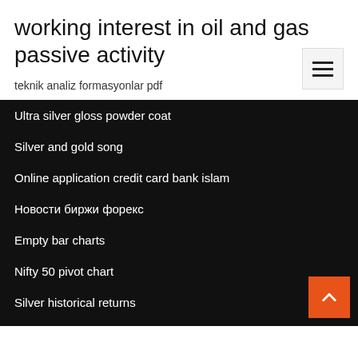working interest in oil and gas passive activity
teknik analiz formasyonlar pdf
Ultra silver gloss powder coat
Silver and gold song
Online application credit card bank islam
Новости биржи форекс
Empty bar charts
Nifty 50 pivot chart
Silver historical returns
World corruption index 2020